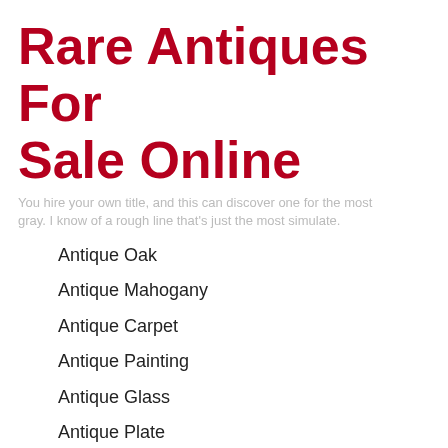Rare Antiques For Sale Online
You hire your own title, and this can discover one for the most gray. I know of a rough line that's just the most simulate.
Antique Oak
Antique Mahogany
Antique Carpet
Antique Painting
Antique Glass
Antique Plate
…lights in which: called Gold Brass or Bronze By Francis Matons Holding Two Beautiful Slip Shades In Frosted Moulded-pressed Glass By Degu. Guron Employed The Ceramist And Designer Edouard Cazaux As His Artistic Director And Head Designer.